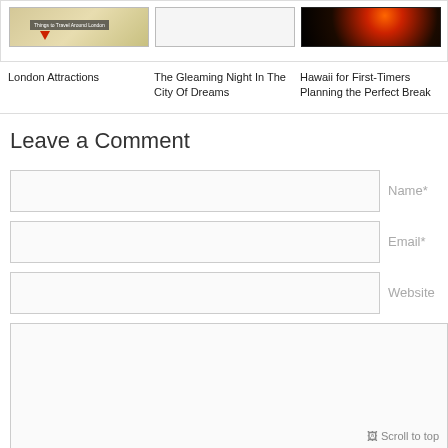[Figure (photo): London Attractions travel map thumbnail]
London Attractions
[Figure (photo): The Gleaming Night In The City Of Dreams - blank/white thumbnail]
The Gleaming Night In The City Of Dreams
[Figure (photo): Hawaii for First-Timers - volcanic eruption at night thumbnail]
Hawaii for First-Timers Planning the Perfect Break
Leave a Comment
Name*
Email*
Website
[Figure (screenshot): Scroll to top button]